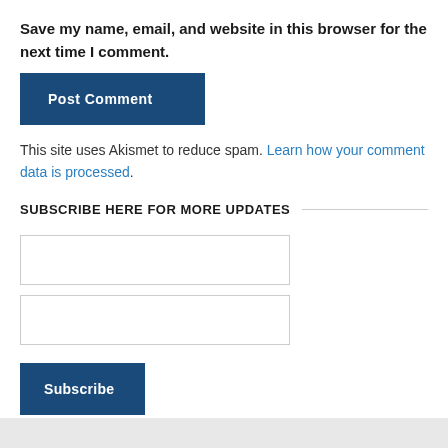Save my name, email, and website in this browser for the next time I comment.
[Figure (other): Post Comment button — dark blue rectangle with white bold text 'Post Comment']
This site uses Akismet to reduce spam. Learn how your comment data is processed.
SUBSCRIBE HERE FOR MORE UPDATES
[Figure (other): Two empty text input boxes for subscription form]
[Figure (other): Subscribe button — dark blue rectangle with white bold text 'Subscribe']